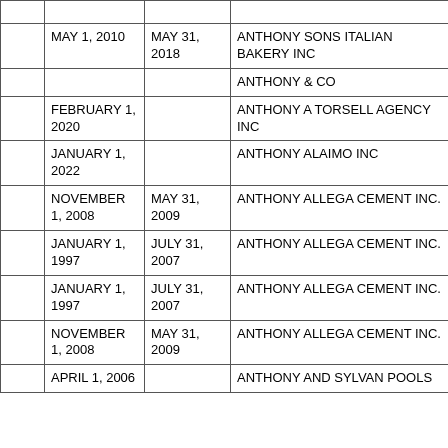|  | Start Date | End Date | Entity Name |
| --- | --- | --- | --- |
|  | MAY 1, 2010 | MAY 31, 2018 | ANTHONY SONS ITALIAN BAKERY INC |
|  |  |  | ANTHONY & CO |
|  | FEBRUARY 1, 2020 |  | ANTHONY A TORSELL AGENCY INC |
|  | JANUARY 1, 2022 |  | ANTHONY ALAIMO INC |
|  | NOVEMBER 1, 2008 | MAY 31, 2009 | ANTHONY ALLEGA CEMENT INC. |
|  | JANUARY 1, 1997 | JULY 31, 2007 | ANTHONY ALLEGA CEMENT INC. |
|  | JANUARY 1, 1997 | JULY 31, 2007 | ANTHONY ALLEGA CEMENT INC. |
|  | NOVEMBER 1, 2008 | MAY 31, 2009 | ANTHONY ALLEGA CEMENT INC. |
|  | APRIL 1, 2006 |  | ANTHONY AND SYLVAN POOLS |